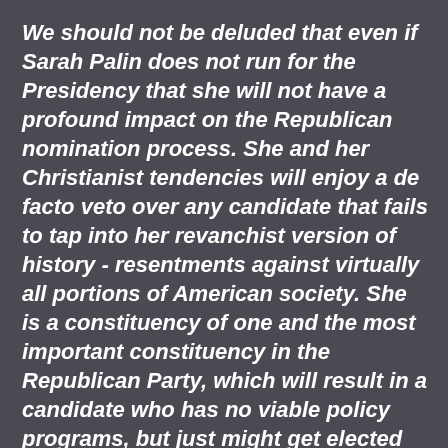We should not be deluded that even if Sarah Palin does not run for the Presidency that she will not have a profound impact on the Republican nomination process. She and her Christianist tendencies will enjoy a de facto veto over any candidate that fails to tap into her revanchist version of history - resentments against virtually all portions of American society. She is a constituency of one and the most important constituency in the Republican Party, which will result in a candidate who has no viable policy programs, but just might get elected due to economic circumstances.
The media, the American people, and most importantly the Republican Party,